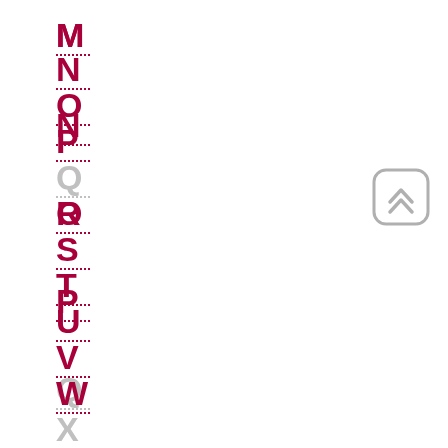M
N
O
P
Q
R
S
T
U
V
W
X
[Figure (other): Scroll-to-top button with double chevron up icon, rounded rectangle, gray color]